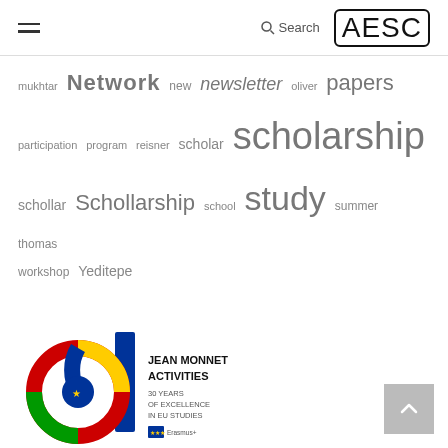Search | AESC
[Figure (infographic): Tag cloud / word cloud with terms: mukhtar, Network, new, newsletter, oliver, papers, participation, program, reisner, scholar, scholarship, schollar, Schollarship, school, study, summer, thomas, workshop, Yeditepe — displayed in varying font sizes indicating frequency]
[Figure (logo): Jean Monnet Activities 30 Years of Excellence in EU Studies logo with Erasmus+ branding and colorful circular design]
[Figure (other): Scroll-to-top button (grey square with upward arrow)]